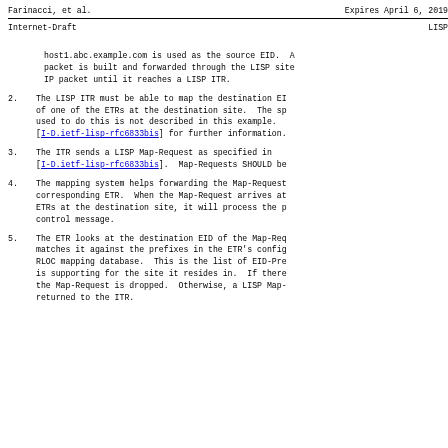Farinacci, et al.    Expires April 6, 2019
Internet-Draft                        LISP
host1.abc.example.com is used as the source EID.  A packet is built and forwarded through the LISP site IP packet until it reaches a LISP ITR.
2.  The LISP ITR must be able to map the destination EI of one of the ETRs at the destination site.  The sp used to do this is not described in this example. [I-D.ietf-lisp-rfc6833bis] for further information.
3.  The ITR sends a LISP Map-Request as specified in [I-D.ietf-lisp-rfc6833bis].  Map-Requests SHOULD be
4.  The mapping system helps forwarding the Map-Request corresponding ETR.  When the Map-Request arrives at ETRs at the destination site, it will process the p control message.
5.  The ETR looks at the destination EID of the Map-Req matches it against the prefixes in the ETR's config RLOC mapping database.  This is the list of EID-Pre is supporting for the site it resides in.  If there the Map-Request is dropped.  Otherwise, a LISP Map- returned to the ITR.